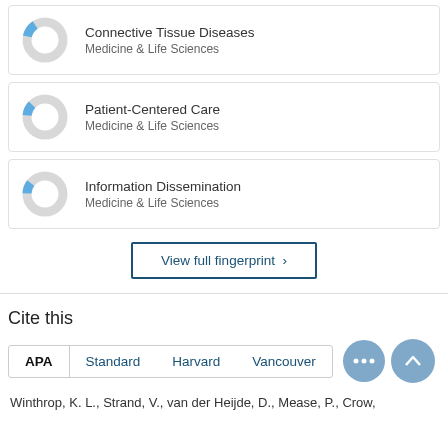[Figure (donut-chart): Small donut chart mostly gray with a small blue segment, representing Connective Tissue Diseases / Medicine & Life Sciences fingerprint item]
Connective Tissue Diseases
Medicine & Life Sciences
[Figure (donut-chart): Small donut chart mostly gray with a small blue segment, representing Patient-Centered Care / Medicine & Life Sciences fingerprint item]
Patient-Centered Care
Medicine & Life Sciences
[Figure (donut-chart): Small donut chart mostly gray with a small blue segment, representing Information Dissemination / Medicine & Life Sciences fingerprint item]
Information Dissemination
Medicine & Life Sciences
View full fingerprint ›
Cite this
APA   Standard   Harvard   Vancouver   •••
Winthrop, K. L., Strand, V., van der Heijde, D., Mease, P., Crow,